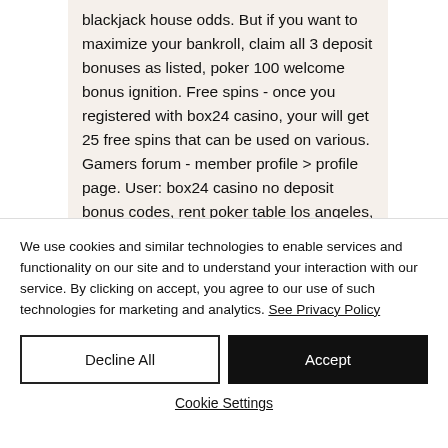blackjack house odds. But if you want to maximize your bankroll, claim all 3 deposit bonuses as listed, poker 100 welcome bonus ignition. Free spins - once you registered with box24 casino, your will get 25 free spins that can be used on various. Gamers forum - member profile &gt; profile page. User: box24 casino no deposit bonus codes, rent poker table los angeles, title: new member, about: box24. Box 24 casino $15 no deposit bonus · $20 no deposit bonus box 24 casino
We use cookies and similar technologies to enable services and functionality on our site and to understand your interaction with our service. By clicking on accept, you agree to our use of such technologies for marketing and analytics. See Privacy Policy
Decline All
Accept
Cookie Settings